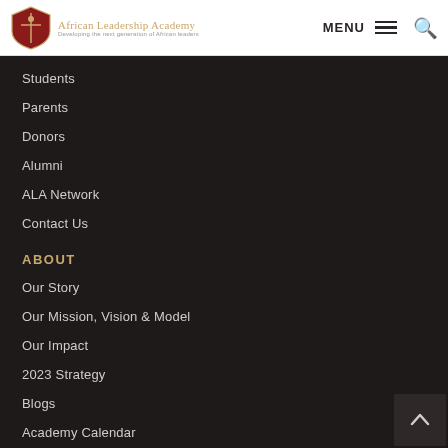African Leadership Academy — Developing the next generation of African leaders
Students
Parents
Donors
Alumni
ALA Network
Contact Us
ABOUT
Our Story
Our Mission, Vision & Model
Our Impact
2023 Strategy
Blogs
Academy Calendar
LEGAL